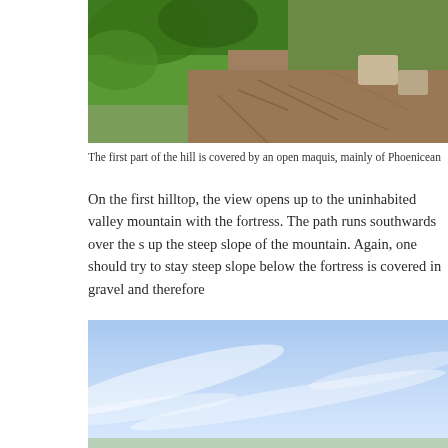[Figure (photo): Photograph of a hillside covered with open maquis shrubland, showing green vegetation in the upper left and dry scrubby brush with rocky terrain on the right and lower portions.]
The first part of the hill is covered by an open maquis, mainly of Phoenicean
On the first hilltop, the view opens up to the uninhabited valley mountain with the fortress. The path runs southwards over the s up the steep slope of the mountain. Again, one should try to stay steep slope below the fortress is covered in gravel and therefore
[Figure (photo): Photograph of a blue sky with wispy white clouds and what appears to be a hilltop or ridge line visible at the bottom edge.]